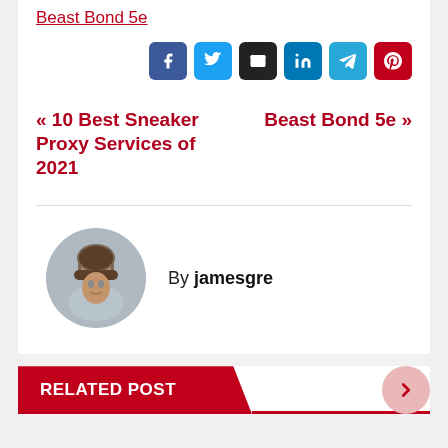Beast Bond 5e
[Figure (infographic): Social share buttons row: Facebook (blue), Twitter (light blue), Email (dark/black), LinkedIn (blue), Telegram (cyan), Pinterest (red)]
« 10 Best Sneaker Proxy Services of 2021    Beast Bond 5e »
[Figure (photo): Circular portrait photo of a man with dark hair, shown from shoulders up, against a blurred background.]
By jamesgre
RELATED POST